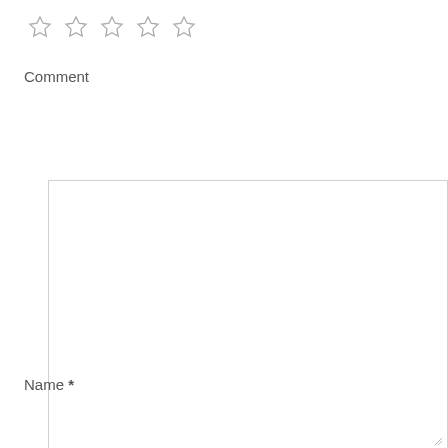[Figure (other): Five empty star icons in a row for rating]
Comment
[Figure (other): Large empty comment textarea input box with resize handle]
Name *
[Figure (other): Name text input field]